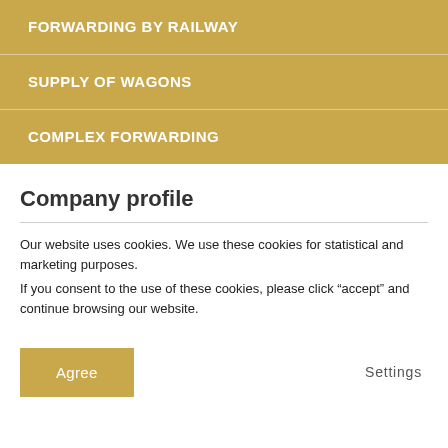FORWARDING BY RAILWAY
SUPPLY OF WAGONS
COMPLEX FORWARDING
Company profile
Our website uses cookies. We use these cookies for statistical and marketing purposes.
If you consent to the use of these cookies, please click “accept” and continue browsing our website.
Agree
Settings